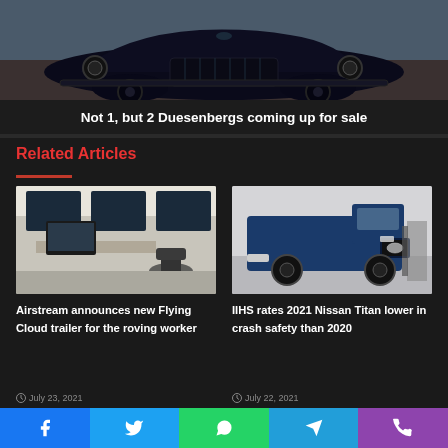[Figure (photo): Classic vintage dark blue Duesenberg car, front view, photographed outdoors]
Not 1, but 2 Duesenbergs coming up for sale
Related Articles
[Figure (photo): Interior of an Airstream Flying Cloud trailer showing a workspace with desk and office chair]
Airstream announces new Flying Cloud trailer for the roving worker
July 23, 2021
[Figure (photo): Blue 2021 Nissan Titan truck being crash tested at IIHS facility]
IIHS rates 2021 Nissan Titan lower in crash safety than 2020
July 22, 2021